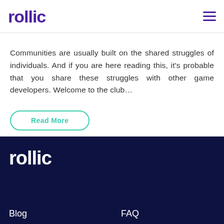rollic
Communities are usually built on the shared struggles of individuals. And if you are here reading this, it's probable that you share these struggles with other game developers. Welcome to the club…
Read More
[Figure (logo): Rollic logo in white on dark navy footer background]
Blog    FAQ